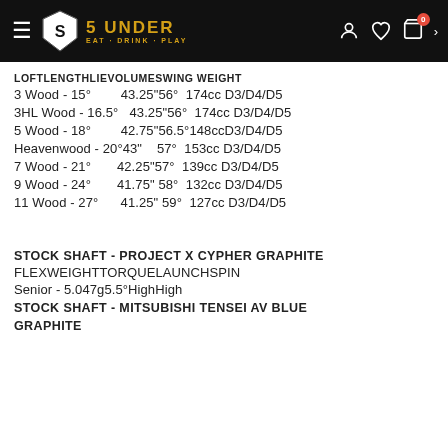5 UNDER EAT · DRINK · PLAY
| LOFT | LENGTH | LIE | VOLUME | SWING WEIGHT |
| --- | --- | --- | --- | --- |
| 3 Wood - 15° | 43.25" | 56° | 174cc | D3/D4/D5 |
| 3HL Wood - 16.5° | 43.25" | 56° | 174cc | D3/D4/D5 |
| 5 Wood - 18° | 42.75" | 56.5° | 148cc | D3/D4/D5 |
| Heavenwood - 20° | 43" | 57° | 153cc | D3/D4/D5 |
| 7 Wood - 21° | 42.25" | 57° | 139cc | D3/D4/D5 |
| 9 Wood - 24° | 41.75" | 58° | 132cc | D3/D4/D5 |
| 11 Wood - 27° | 41.25" | 59° | 127cc | D3/D4/D5 |
STOCK SHAFT - PROJECT X CYPHER GRAPHITE
FLEX WEIGHT TORQUE LAUNCH SPIN
Senior - 5.047g 5.5° High High
STOCK SHAFT - MITSUBISHI TENSEI AV BLUE GRAPHITE